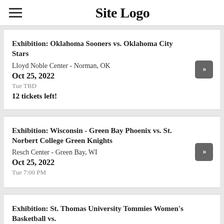Site Logo
Exhibition: Oklahoma Sooners vs. Oklahoma City Stars
Lloyd Noble Center - Norman, OK
Oct 25, 2022
Tue TBD
12 tickets left!
Exhibition: Wisconsin - Green Bay Phoenix vs. St. Norbert College Green Knights
Resch Center - Green Bay, WI
Oct 25, 2022
Tue 7:00 PM
Exhibition: St. Thomas University Tommies Women's Basketball vs.